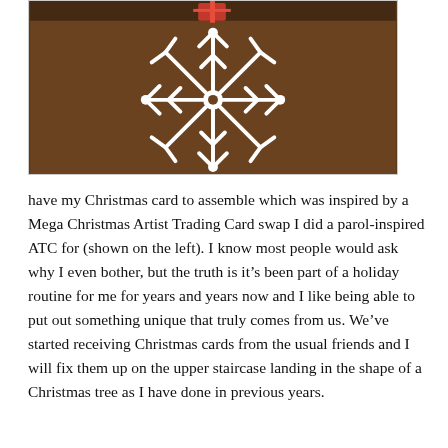[Figure (photo): Close-up photo of a Christmas craft item showing a white snowflake decoration on a brown/tan background with a small red element visible at the top]
have my Christmas card to assemble which was inspired by a Mega Christmas Artist Trading Card swap I did a parol-inspired ATC for (shown on the left). I know most people would ask why I even bother, but the truth is it’s been part of a holiday routine for me for years and years now and I like being able to put out something unique that truly comes from us. We’ve started receiving Christmas cards from the usual friends and I will fix them up on the upper staircase landing in the shape of a Christmas tree as I have done in previous years.